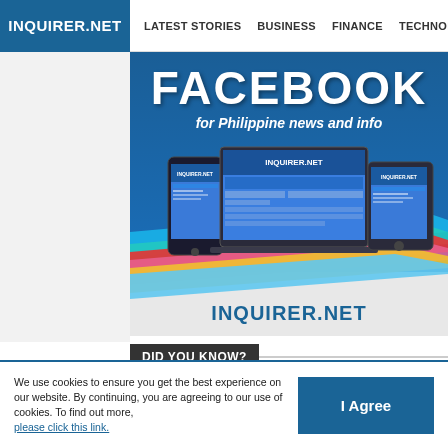INQUIRER.NET  LATEST STORIES  BUSINESS  FINANCE  TECHNOLO
[Figure (screenshot): INQUIRER.NET Facebook promotional banner showing FACEBOOK for Philippine news and info with devices (phone, laptop, tablet) and rainbow stripes, INQUIRER.NET logo at bottom]
DID YOU KNOW?
[Figure (photo): Woman with long hair seen from behind with hands on head against pink background]
How to Make Your Hair Grow Faster
We use cookies to ensure you get the best experience on our website. By continuing, you are agreeing to our use of cookies. To find out more, please click this link.